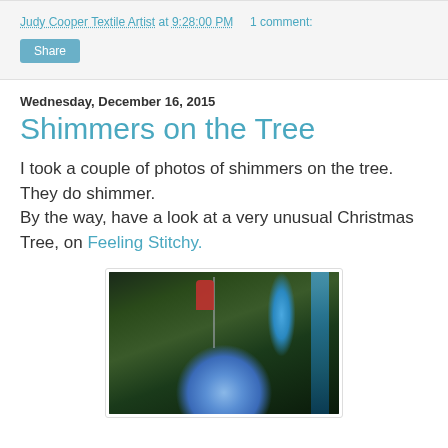Judy Cooper Textile Artist at 9:28:00 PM    1 comment:
Share
Wednesday, December 16, 2015
Shimmers on the Tree
I took a couple of photos of shimmers on the tree. They do shimmer.
By the way, have a look at a very unusual Christmas Tree, on Feeling Stitchy.
[Figure (photo): Photo of Christmas tree ornament shimmers, showing a glittery blue ornament ball and hanging decorations against green foliage background.]